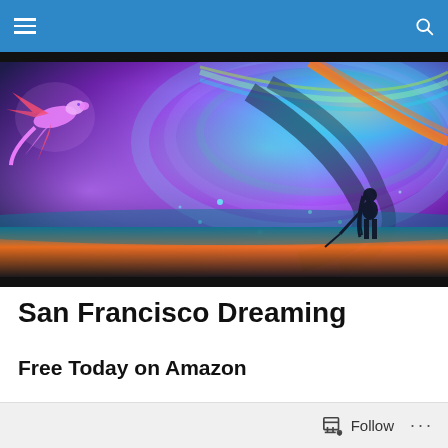Navigation bar with hamburger menu and search icon
[Figure (illustration): Fantasy digital art showing a colorful swirling sky with purple, blue, teal, green and rainbow hues. A pink/red dragon flies on the left, and a silhouetted figure holding a sword stands on the right facing the cosmic scene.]
San Francisco Dreaming
Free Today on Amazon
Follow ...